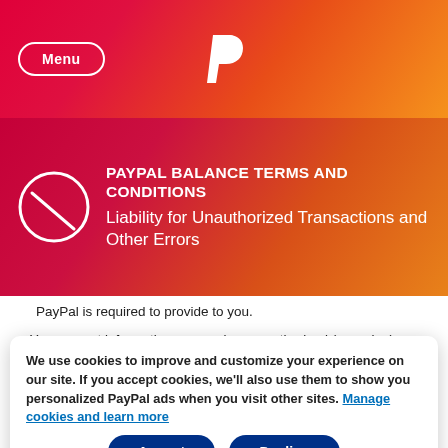Menu | PayPal
PAYPAL BALANCE TERMS AND CONDITIONS
Liability for Unauthorized Transactions and Other Errors
PayPal is required to provide to you.
You request information concerning preauthorized (recurring) transfers to your Balance Account that PayPal is required to provide to you.
We use cookies to improve and customize your experience on our site. If you accept cookies, we'll also use them to show you personalized PayPal ads when you visit other sites. Manage cookies and learn more
You request documentation or other information, unless